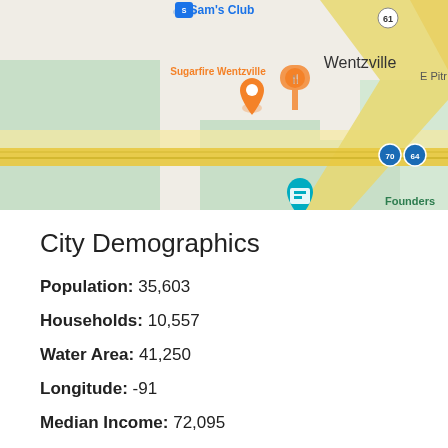[Figure (map): Google Maps view of Wentzville area showing Sam's Club, Sugarfire Wentzville restaurant, highway interchanges (I-70, I-64/Route 61), and Founders area]
City Demographics
Population: 35,603
Households: 10,557
Water Area: 41,250
Longitude: -91
Median Income: 72,095
Latitude: 39